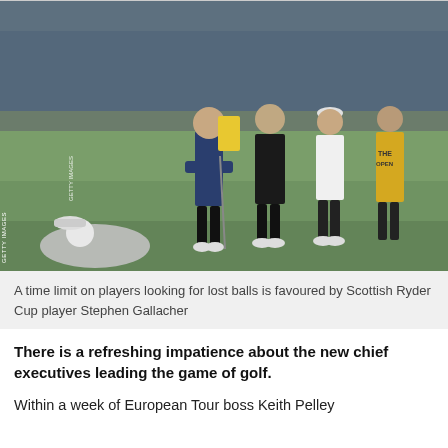[Figure (photo): Golf scene at The Open Championship. A player crouches low on the putting green looking for a lost ball in the foreground (wearing white cap and grey top). In the background, a caddie in a blue vest with arms crossed holds a putter, two golfers in dark and white attire stand watching, and another caddie in a yellow vest marked 'THE OPEN' stands to the right. A crowd of spectators is visible in the background.]
A time limit on players looking for lost balls is favoured by Scottish Ryder Cup player Stephen Gallacher
There is a refreshing impatience about the new chief executives leading the game of golf.
Within a week of European Tour boss Keith Pelley